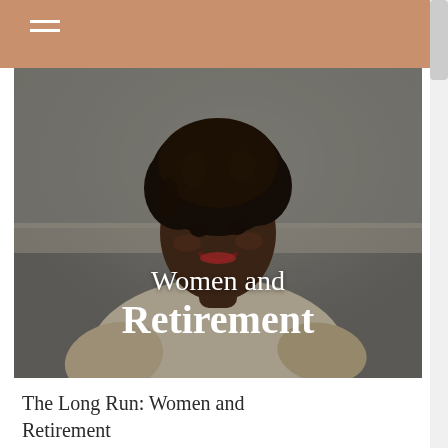[Figure (photo): Hero image of a smiling middle-aged Black woman with curly hair, wearing a light-colored sweater, looking upward and to the side outdoors. Overlaid text reads 'Women and Retirement'.]
The Long Run: Women and Retirement